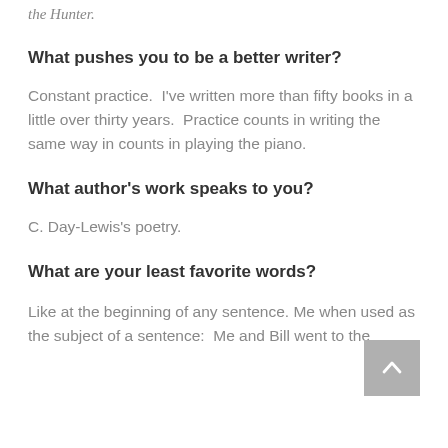the Hunter.
What pushes you to be a better writer?
Constant practice.  I've written more than fifty books in a little over thirty years.  Practice counts in writing the same way in counts in playing the piano.
What author's work speaks to you?
C. Day-Lewis's poetry.
What are your least favorite words?
Like at the beginning of any sentence.  Me when used as the subject of a sentence:  Me and Bill went to the